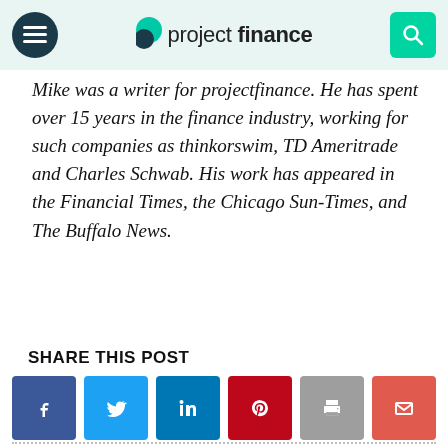projectfinance
Mike was a writer for projectfinance. He has spent over 15 years in the finance industry, working for such companies as thinkorswim, TD Ameritrade and Charles Schwab. His work has appeared in the Financial Times, the Chicago Sun-Times, and The Buffalo News.
SHARE THIS POST
[Figure (other): Six social share buttons: Facebook, Twitter, LinkedIn, Pinterest, Print, Email]